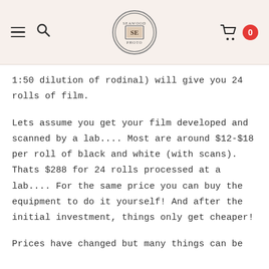Seawood Photo — navigation header with hamburger menu, logo, search, and cart (0 items)
1:50 dilution of rodinal) will give you 24 rolls of film.
Lets assume you get your film developed and scanned by a lab.... Most are around $12-$18 per roll of black and white (with scans). Thats $288 for 24 rolls processed at a lab.... For the same price you can buy the equipment to do it yourself! And after the initial investment, things only get cheaper!
Prices have changed but many things can be